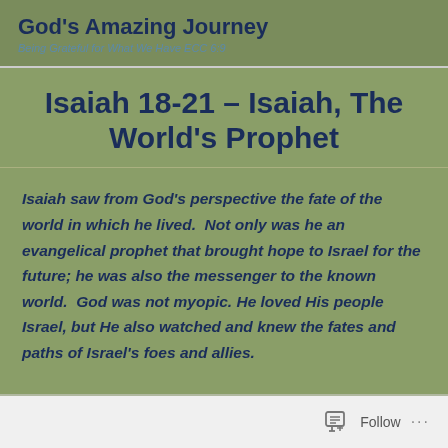God's Amazing Journey
Being Grateful for What We Have ECC 6:9
Isaiah 18-21 – Isaiah, The World's Prophet
Isaiah saw from God's perspective the fate of the world in which he lived. Not only was he an evangelical prophet that brought hope to Israel for the future; he was also the messenger to the known world. God was not myopic. He loved His people Israel, but He also watched and knew the fates and paths of Israel's foes and allies.
Follow ...